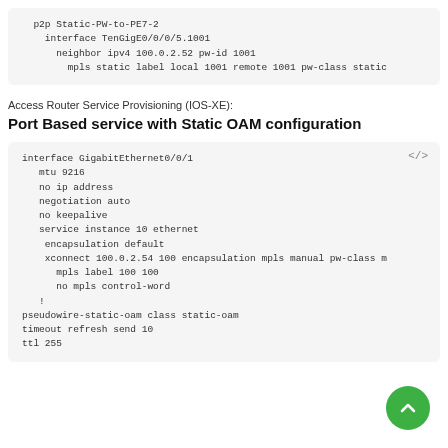[Figure (screenshot): Code block showing IOS-XR configuration snippet: p2p Static-PW-to-PE7-2 with interface TenGigE0/0/0/5.1001, neighbor ipv4 100.0.2.52 pw-id 1001, and mpls static label local 1001 remote 1001 pw-class static]
Access Router Service Provisioning (IOS-XE):
Port Based service with Static OAM configuration
[Figure (screenshot): Code block showing IOS-XE configuration: interface GigabitEthernet0/0/1, mtu 9216, no ip address, negotiation auto, no keepalive, service instance 10 ethernet, encapsulation default, xconnect 100.0.2.54 100 encapsulation mpls manual pw-class m, mpls label 100 100, no mpls control-word, !, pseudowire-static-oam class static-oam, timeout refresh send 10, ttl 255]